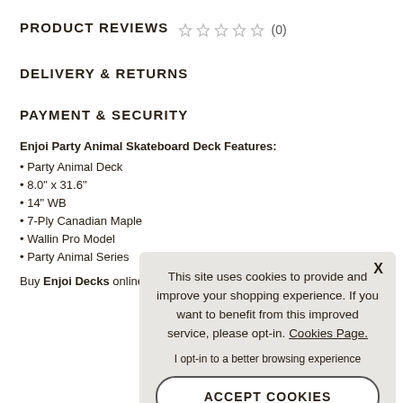PRODUCT REVIEWS ☆☆☆☆☆ (0)
DELIVERY & RETURNS
PAYMENT & SECURITY
Enjoi Party Animal Skateboard Deck Features:
• Party Animal Deck
• 8.0" x 31.6"
• 14" WB
• 7-Ply Canadian Maple
• Wallin Pro Model
• Party Animal Series
Buy Enjoi Decks online
This site uses cookies to provide and improve your shopping experience. If you want to benefit from this improved service, please opt-in. Cookies Page.
I opt-in to a better browsing experience
ACCEPT COOKIES